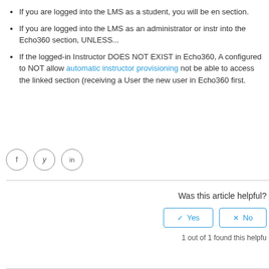If you are logged into the LMS as a student, you will be en section.
If you are logged into the LMS as an administrator or instr into the Echo360 section, UNLESS...
If the logged-in Instructor DOES NOT EXIST in Echo360, A configured to NOT allow automatic instructor provisioning not be able to access the linked section (receiving a User the new user in Echo360 first.
[Figure (other): Social media share icons: Facebook, Twitter, LinkedIn]
Was this article helpful?
1 out of 1 found this helpfu